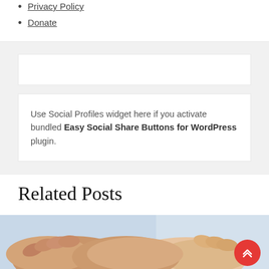Privacy Policy
Donate
Use Social Profiles widget here if you activate bundled Easy Social Share Buttons for WordPress plugin.
Related Posts
[Figure (photo): Photo showing two hands clasping or shaking hands, with a blurred light background]